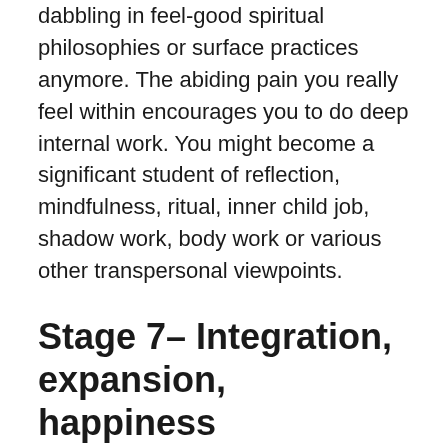dabbling in feel-good spiritual philosophies or surface practices anymore. The abiding pain you really feel within encourages you to do deep internal work. You might become a significant student of reflection, mindfulness, ritual, inner child job, shadow work, body work or various other transpersonal viewpoints.
Stage 7– Integration, expansion, happiness
Integration suggests taking the spiritual lessons you've found out from your inner work and applying them to your daily life. Integration happens both normally and also knowingly as a routine in deep spiritual